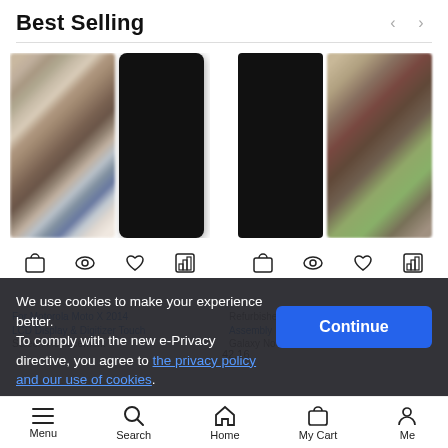Best Selling
[Figure (photo): Two product images side by side: blurred circuit board back panel and black phone screen front panel for Motorola Moto X 2014]
[Figure (photo): Two product images side by side: black phone screen front panel and blurred circuit board back panel for Samsung Galaxy Note refurbished screen assembly]
For Motorola Moto X 2014
Refurbished Screen Assembly Galaxy No
$42.16
We use cookies to make your experience better. To comply with the new e-Privacy directive, you agree to the privacy policy and our use of cookies.
Menu | Search | Home | My Cart | Me